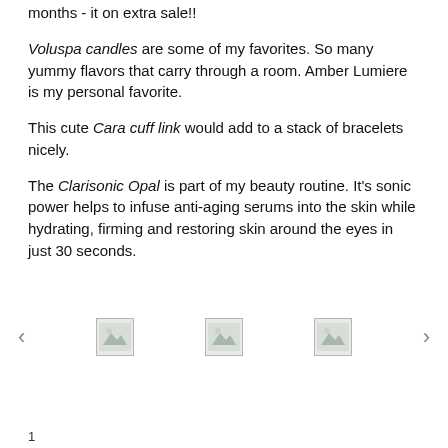months - it on extra sale!!
Voluspa candles are some of my favorites. So many yummy flavors that carry through a room. Amber Lumiere is my personal favorite.
This cute Cara cuff link would add to a stack of bracelets nicely.
The Clarisonic Opal is part of my beauty routine. It's sonic power helps to infuse anti-aging serums into the skin while hydrating, firming and restoring skin around the eyes in just 30 seconds.
[Figure (photo): Carousel navigation with left arrow, three image thumbnails (broken/placeholder images), and right arrow]
1